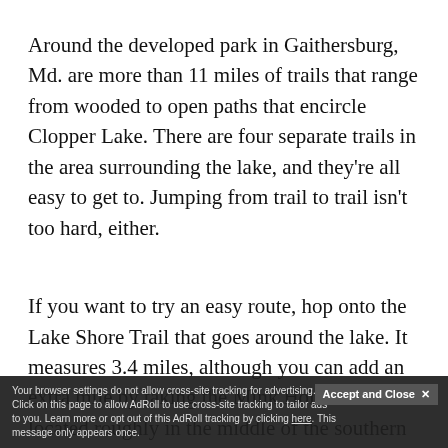Around the developed park in Gaithersburg, Md. are more than 11 miles of trails that range from wooded to open paths that encircle Clopper Lake. There are four separate trails in the area surrounding the lake, and they're all easy to get to. Jumping from trail to trail isn't too hard, either.
If you want to try an easy route, hop onto the Lake Shore Trail that goes around the lake. It measures 3.4 miles, although you can add an extra mile by taking the Mink Hollow Trail located roughly in the middle of the southern end of the trail (the Great Seneca High... depending if trail conditions are wet.